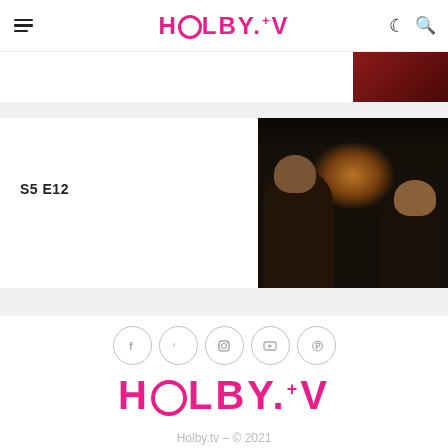HOLBY.TV
[Figure (screenshot): Partially visible card strip with dark reddish thumbnail on right]
S5 E12
[Figure (photo): Dark scene showing two people in a dimly lit pub/restaurant with warm candlelight]
[Figure (infographic): Social media icons row: Facebook, Twitter, Instagram, YouTube, Pinterest]
[Figure (logo): HOLBY.TV logo in pink]
Holby.tv — © 2021